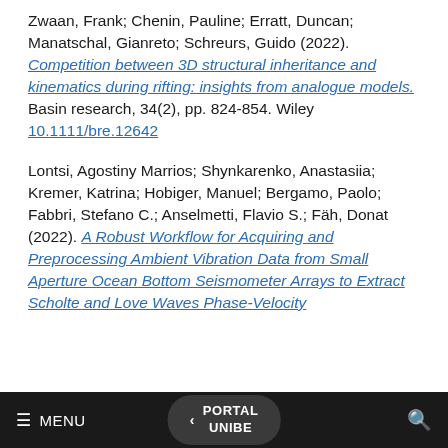Zwaan, Frank; Chenin, Pauline; Erratt, Duncan; Manatschal, Gianreto; Schreurs, Guido (2022). Competition between 3D structural inheritance and kinematics during rifting: insights from analogue models. Basin research, 34(2), pp. 824-854. Wiley 10.1111/bre.12642
Lontsi, Agostiny Marrios; Shynkarenko, Anastasiia; Kremer, Katrina; Hobiger, Manuel; Bergamo, Paolo; Fabbri, Stefano C.; Anselmetti, Flavio S.; Fäh, Donat (2022). A Robust Workflow for Acquiring and Preprocessing Ambient Vibration Data from Small Aperture Ocean Bottom Seismometer Arrays to Extract Scholte and Love Waves Phase-Velocity
≡ MENU   < PORTAL UNIBE   🔍